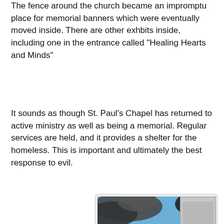The fence around the church became an impromptu place for memorial banners which were eventually moved inside. There are other exhbits inside, including one in the entrance called "Healing Hearts and Minds"
It sounds as though St. Paul's Chapel has returned to active ministry as well as being a memorial. Regular services are held, and it provides a shelter for the homeless. This is important and ultimately the best response to evil.
[Figure (photo): Photograph showing an airplane approaching the World Trade Center towers in New York City, with smoke and dark clouds visible. St. Paul's Chapel green spire is visible in the middle ground among other Manhattan skyscrapers.]